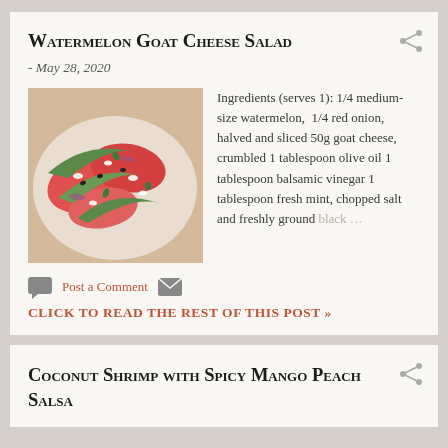Watermelon Goat Cheese Salad
- May 28, 2020
[Figure (photo): Photo of watermelon goat cheese salad on a plate with crumbled cheese and herbs]
Ingredients (serves 1): 1/4 medium-size watermelon,  1/4 red onion, halved and sliced 50g goat cheese, crumbled 1 tablespoon olive oil 1 tablespoon balsamic vinegar 1 tablespoon fresh mint, chopped salt and freshly ground black …
Post a Comment
CLICK TO READ THE REST OF THIS POST »
Coconut Shrimp with Spicy Mango Peach Salsa